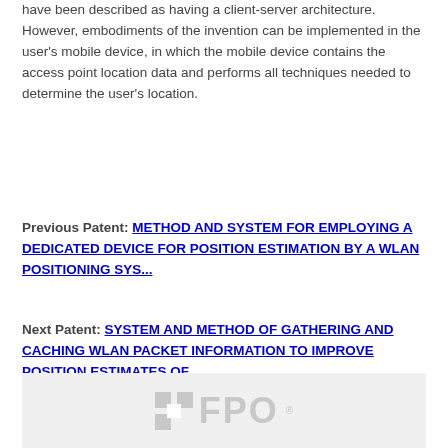have been described as having a client-server architecture. However, embodiments of the invention can be implemented in the user's mobile device, in which the mobile device contains the access point location data and performs all techniques needed to determine the user's location.
Previous Patent: METHOD AND SYSTEM FOR EMPLOYING A DEDICATED DEVICE FOR POSITION ESTIMATION BY A WLAN POSITIONING SYS...
Next Patent: SYSTEM AND METHOD OF GATHERING AND CACHING WLAN PACKET INFORMATION TO IMPROVE POSITION ESTIMATES OF ...
[Figure (logo): FPO watermark logo with grid icon and FPO text in light gray]